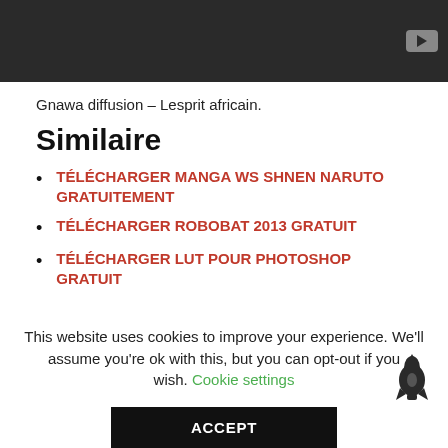[Figure (screenshot): Dark video player bar with YouTube-style play icon button at top right]
Gnawa diffusion – Lesprit africain.
Similaire
TÉLÉCHARGER MANGA WS SHNEN NARUTO GRATUITEMENT
TÉLÉCHARGER ROBOBAT 2013 GRATUIT
TÉLÉCHARGER LUT POUR PHOTOSHOP GRATUIT
This website uses cookies to improve your experience. We'll assume you're ok with this, but you can opt-out if you wish. Cookie settings
ACCEPT